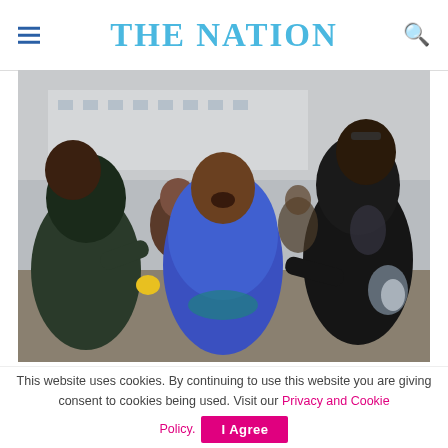THE NATION
[Figure (photo): A distressed woman in a blue top being supported by two other women outdoors, appearing to be in emotional grief. Multiple people visible in background near a building.]
This website uses cookies. By continuing to use this website you are giving consent to cookies being used. Visit our Privacy and Cookie Policy.